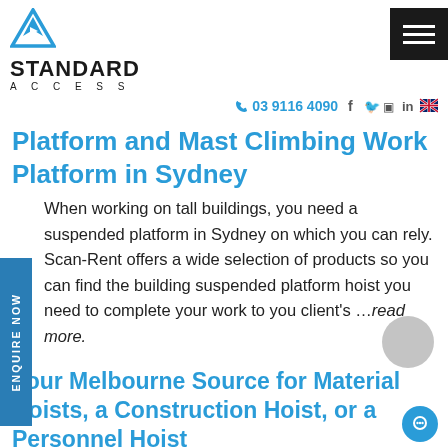[Figure (logo): Standard Access logo with blue triangle/diamond shape above bold text STANDARD ACCESS]
03 9116 4090  f  in
Platform and Mast Climbing Work Platform in Sydney
When working on tall buildings, you need a suspended platform in Sydney on which you can rely. Scan-Rent offers a wide selection of products so you can find the building suspended platform hoist you need to complete your work to your client's ...read more.
Your Melbourne Source for Material Hoists, a Construction Hoist, or a Personnel Hoist